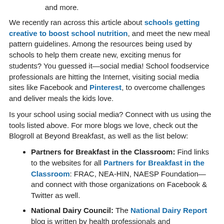and more.
We recently ran across this article about schools getting creative to boost school nutrition, and meet the new meal pattern guidelines. Among the resources being used by schools to help them create new, exciting menus for students? You guessed it—social media! School foodservice professionals are hitting the Internet, visiting social media sites like Facebook and Pinterest, to overcome challenges and deliver meals the kids love.
Is your school using social media? Connect with us using the tools listed above. For more blogs we love, check out the Blogroll at Beyond Breakfast, as well as the list below:
Partners for Breakfast in the Classroom: Find links to the websites for all Partners for Breakfast in the Classroom: FRAC, NEA-HIN, NAESP Foundation—and connect with those organizations on Facebook & Twitter as well.
National Dairy Council: The National Dairy Report blog is written by health professionals and communications experts at the National Dairy Council. Updated frequently, it's a